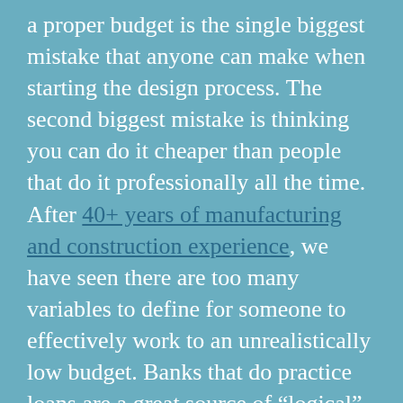a proper budget is the single biggest mistake that anyone can make when starting the design process. The second biggest mistake is thinking you can do it cheaper than people that do it professionally all the time. After 40+ years of manufacturing and construction experience, we have seen there are too many variables to define for someone to effectively work to an unrealistically low budget. Banks that do practice loans are a great source of “logical” information for construction and fixture budgets. They see the original budgets that loans were granted for and then have the data for the actual payments made. (more in our Answers to your FAQs blog post).